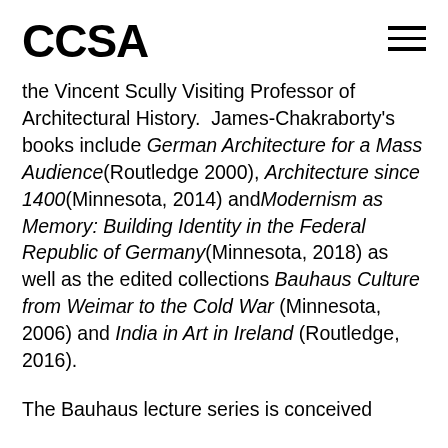CCSA
the Vincent Scully Visiting Professor of Architectural History.  James-Chakraborty's books include German Architecture for a Mass Audience(Routledge 2000), Architecture since 1400(Minnesota, 2014) andModernism as Memory: Building Identity in the Federal Republic of Germany(Minnesota, 2018) as well as the edited collections Bauhaus Culture from Weimar to the Cold War (Minnesota, 2006) and India in Art in Ireland (Routledge, 2016).
The Bauhaus lecture series is conceived